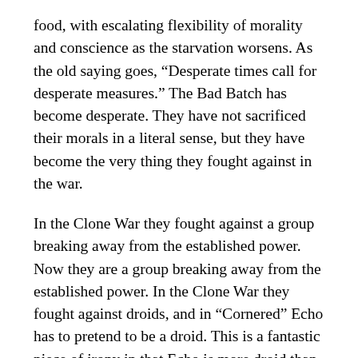food, with escalating flexibility of morality and conscience as the starvation worsens. As the old saying goes, “Desperate times call for desperate measures.” The Bad Batch has become desperate. They have not sacrificed their morals in a literal sense, but they have become the very thing they fought against in the war.
In the Clone War they fought against a group breaking away from the established power. Now they are a group breaking away from the established power. In the Clone War they fought against droids, and in “Cornered” Echo has to pretend to be a droid. This is a fantastic piece of irony in that Echo is more droid than any clone has ever been, and harkens back to Tech’s “more machine now than man” comment in the first episode. Thankfully the heroes